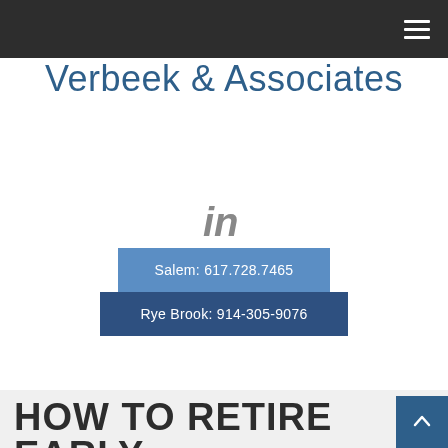Verbeek & Associates
[Figure (logo): LinkedIn 'in' icon in grey]
Salem: 617.728.7465
Rye Brook: 914-305-9076
HOW TO RETIRE EARLY